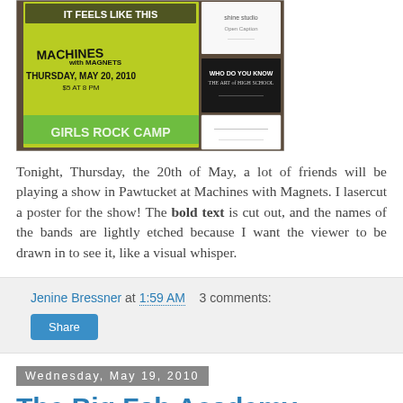[Figure (photo): Photo of a store window with event posters including 'Machines with Magnets, Thursday, May 20, 2010' on a yellow-green poster, and other flyers including 'Girls Rock Camp' and salon/studio posters.]
Tonight, Thursday, the 20th of May, a lot of friends will be playing a show in Pawtucket at Machines with Magnets. I lasercut a poster for the show! The bold text is cut out, and the names of the bands are lightly etched because I want the viewer to be drawn in to see it, like a visual whisper.
Jenine Bressner at 1:59 AM   3 comments:
Share
Wednesday, May 19, 2010
The Big Fab Academy Project